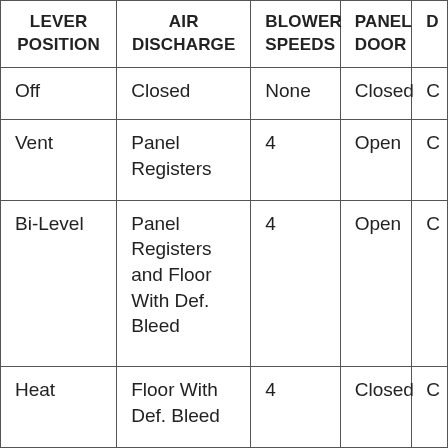| LEVER POSITION | AIR DISCHARGE | BLOWER SPEEDS | PANEL DOOR | D |
| --- | --- | --- | --- | --- |
| Off | Closed | None | Closed | C |
| Vent | Panel Registers | 4 | Open | C |
| Bi-Level | Panel Registers and Floor With Def. Bleed | 4 | Open | C |
| Heat | Floor With Def. Bleed | 4 | Closed | C |